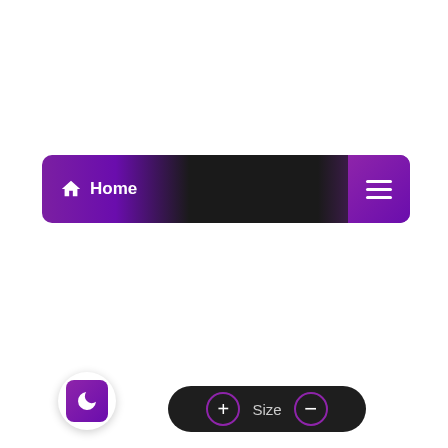[Figure (screenshot): Navigation bar with purple/dark gradient background, home icon and 'Home' text on left, hamburger menu icon on right]
Home Business Freelancing Online. Freelancing Home Business | Udemy
26 May 2022  MOHAMMED  Home » BUSINESS